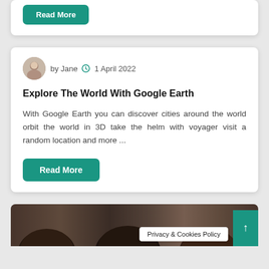[Figure (other): Top of a blog article card showing only a teal 'Read More' button at the bottom, partially visible]
Explore The World With Google Earth
by Jane  1 April 2022
With Google Earth you can discover cities around the world orbit the world in 3D take the helm with voyager visit a random location and more ...
Read More
[Figure (photo): Bottom portion showing heads/hair of several people, partially cut off at bottom of page]
Privacy & Cookies Policy